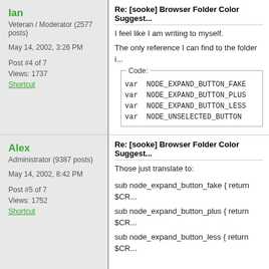Ian
Veteran / Moderator (2577 posts)
May 14, 2002, 3:26 PM
Post #4 of 7
Views: 1737
Shortcut
Re: [sooke] Browser Folder Color Suggest...
I feel like I am writing to myself.
The only reference I can find to the folder i...
Code:
var NODE_EXPAND_BUTTON_FAKE
var NODE_EXPAND_BUTTON_PLUS
var NODE_EXPAND_BUTTON_LESS
var NODE_UNSELECTED_BUTTON
So what are these? And how can I change...
Alex
Administrator (9387 posts)
May 14, 2002, 8:42 PM
Post #5 of 7
Views: 1752
Shortcut
Re: [sooke] Browser Folder Color Suggest...
Those just translate to:
sub node_expand_button_fake { return $CR...
sub node_expand_button_plus { return $CR...
sub node_expand_button_less { return $CR...